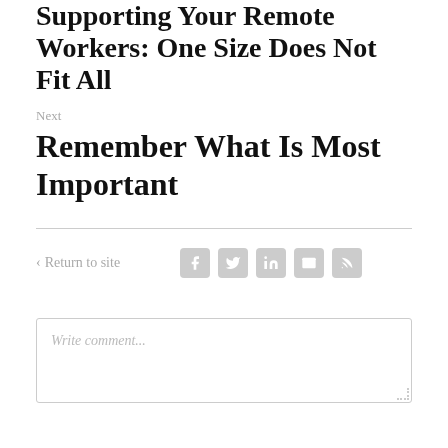Supporting Your Remote Workers: One Size Does Not Fit All
Next
Remember What Is Most Important
< Return to site
[Figure (other): Social media share icons: Facebook, Twitter, LinkedIn, Email, RSS]
Write comment...